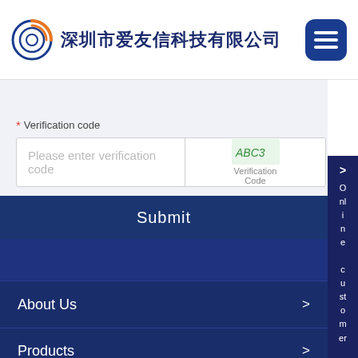深圳市爱友信科技有限公司
* Verification code
Please enter verification code
[Figure (other): Verification Code captcha image placeholder]
Submit
About Us
Products
News
Conatc Us
> Online customer service